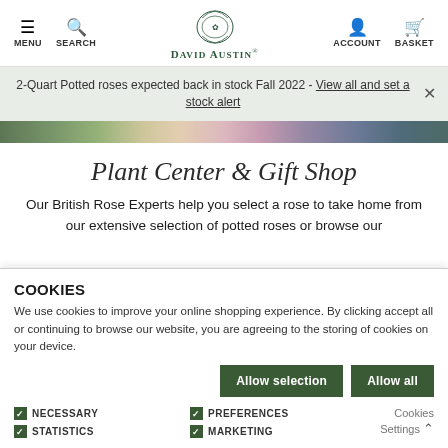MENU  SEARCH  DAVID AUSTIN®  ACCOUNT  BASKET
2-Quart Potted roses expected back in stock Fall 2022 - View all and set a stock alert
[Figure (photo): Decorative hero image strip showing roses and garden scenes]
Plant Center & Gift Shop
Our British Rose Experts help you select a rose to take home from our extensive selection of potted roses or browse our
COOKIES
We use cookies to improve your online shopping experience. By clicking accept all or continuing to browse our website, you are agreeing to the storing of cookies on your device.
Allow selection  Allow all
NECESSARY  PREFERENCES  STATISTICS  MARKETING  Cookies Settings